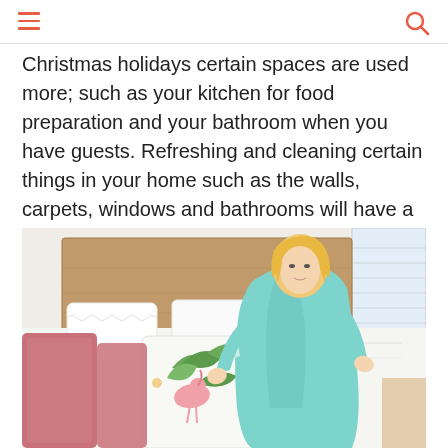Christmas holidays certain spaces are used more; such as your kitchen for food preparation and your bathroom when you have guests. Refreshing and cleaning certain things in your home such as the walls, carpets, windows and bathrooms will have a big impact on its appearance.
[Figure (photo): A blonde woman in a teal/mint blue robe arranging decorative pillows on a white bed. The bed has pink pillows and a tropical flamingo print cushion. There is a wooden headboard and a bright window in the background.]